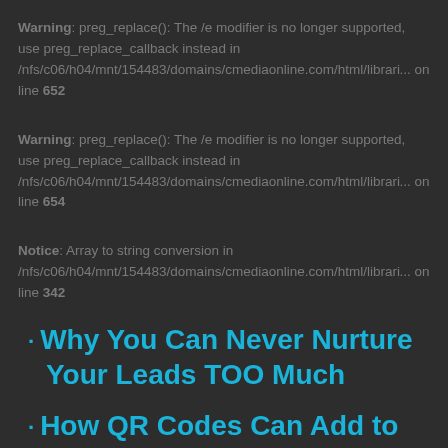Warning: preg_replace(): The /e modifier is no longer supported, use preg_replace_callback instead in /nfs/c06/h04/mnt/154483/domains/cmediaonline.com/html/librar... on line 652
Warning: preg_replace(): The /e modifier is no longer supported, use preg_replace_callback instead in /nfs/c06/h04/mnt/154483/domains/cmediaonline.com/html/librar... on line 654
Notice: Array to string conversion in /nfs/c06/h04/mnt/154483/domains/cmediaonline.com/html/librar... on line 342
Why You Can Never Nurture Your Leads TOO Much
How QR Codes Can Add to the Print Experience: Best Practices